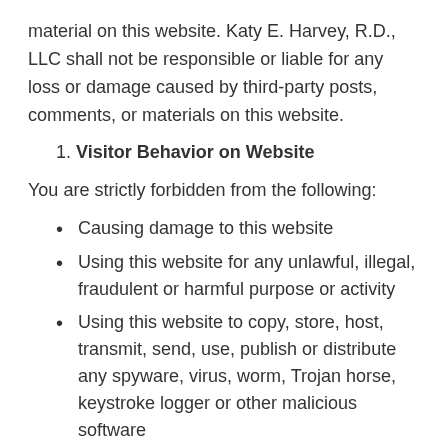material on this website. Katy E. Harvey, R.D., LLC shall not be responsible or liable for any loss or damage caused by third-party posts, comments, or materials on this website.
1. Visitor Behavior on Website
You are strictly forbidden from the following:
Causing damage to this website
Using this website for any unlawful, illegal, fraudulent or harmful purpose or activity
Using this website to copy, store, host, transmit, send, use, publish or distribute any spyware, virus, worm, Trojan horse, keystroke logger or other malicious software
Using this website to transmit, send or deliver unsolicited communications or for other